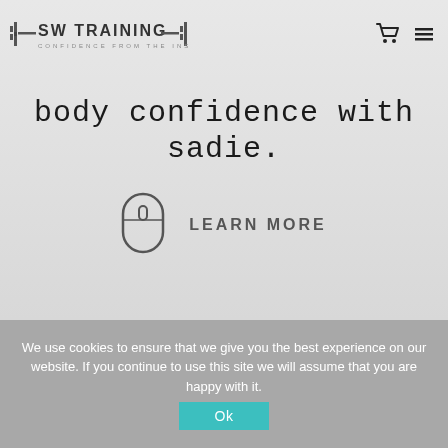SW TRAINING | CONFIDENCE FROM THE INSIDE OUT — cart icon, menu icon
body confidence with sadie.
[Figure (illustration): Mouse scroll icon (outline of a computer mouse with scroll wheel indicator)]
LEARN MORE
We use cookies to ensure that we give you the best experience on our website. If you continue to use this site we will assume that you are happy with it.
Ok